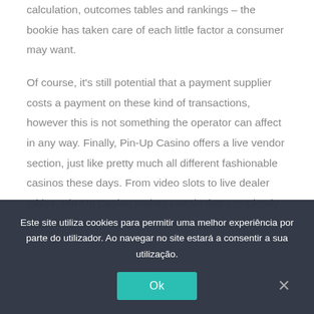calculation, outcomes tables and rankings – the bookie has taken care of each little factor a consumer may want.
Of course, it's still potential that a payment supplier costs a payment on these kind of transactions, however this is not something the operator can affect in any way. Finally, Pin-Up Casino offers a live vendor section, just like pretty much all different fashionable casinos these days. From video slots to live dealer tables, Pin-Up Casino makes certain that completely different gaming tastes are catered to. Players
Este site utiliza cookies para permitir uma melhor experiência por parte do utilizador. Ao navegar no site estará a consentir a sua utilização.
Ok